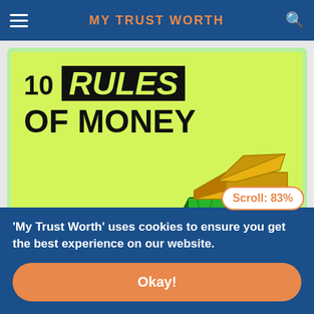MY TRUST WORTH
[Figure (illustration): Yellow-green banner image with '10 RULES OF MONEY' text in bold black, with 'RULES' in a black box with yellow-green text, alongside an illustration of stacked green banknotes wrapped with gold bars.]
Set Money Earning your Goal
'My Trust Worth' uses cookies to ensure you get the best experience on our website.
Scroll: 83%
Okay!